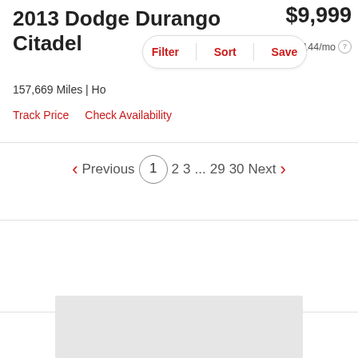2013 Dodge Durango Citadel
$9,999
est. $144/mo
Filter  Sort  Save
157,669 Miles | Houston, TX
Track Price   Check Availability
Previous  1  2  3  ...  29  30  Next
[Figure (other): Advertisement placeholder box (gray rectangle)]